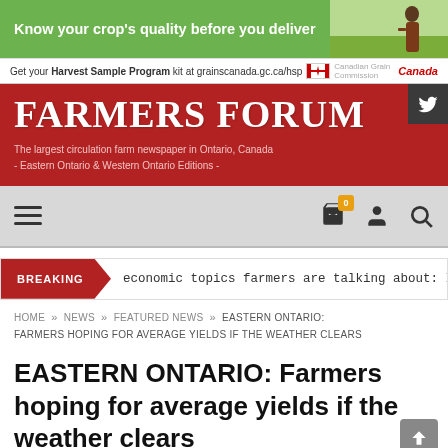[Figure (screenshot): Green advertisement banner: 'Know your crop's quality before you deliver' with photo of farmer in field on right side]
Get your Harvest Sample Program kit at grainscanada.gc.ca/hsp   Canada
FARMERS FORUM
The largest circulation farm newspaper in Ontario, Canada
- Eastern Ontario & Western Ontario Editions -
[Figure (screenshot): Navigation bar with hamburger menu icon on left, and cart (badge: 0), user, and search icons on right]
BREAKING   economic topics farmers are talking about: Infla
HOME » NEWS » FEATURED NEWS » EASTERN ONTARIO: FARMERS HOPING FOR AVERAGE YIELDS IF THE WEATHER CLEARS
EASTERN ONTARIO: Farmers hoping for average yields if the weather clears